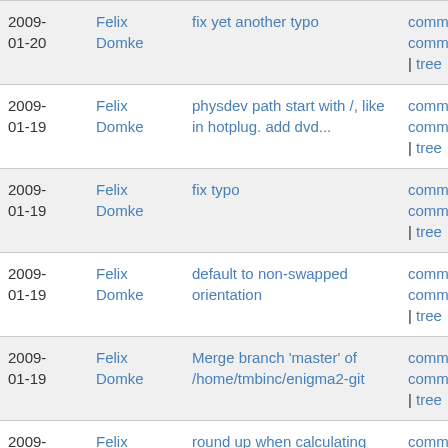| Date | Author | Message | Links |
| --- | --- | --- | --- |
| 2009-01-20 | Felix Domke | fix yet another typo | commit | commitdiff | tree |
| 2009-01-19 | Felix Domke | physdev path start with /, like in hotplug. add dvd... | commit | commitdiff | tree |
| 2009-01-19 | Felix Domke | fix typo | commit | commitdiff | tree |
| 2009-01-19 | Felix Domke | default to non-swapped orientation | commit | commitdiff | tree |
| 2009-01-19 | Felix Domke | Merge branch 'master' of /home/tmbinc/enigma2-git | commit | commitdiff | tree |
| 2009-01-19 | Felix Domke | round up when calculating scrollbar width | commit | commitdiff | tree |